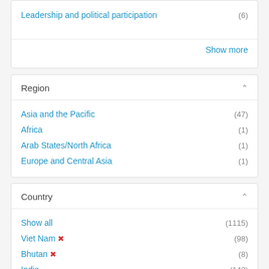Leadership and political participation (6)
Show more
Region
Asia and the Pacific (47)
Africa (1)
Arab States/North Africa (1)
Europe and Central Asia (1)
Country
Show all (1115)
Viet Nam ✕ (98)
Bhutan ✕ (8)
India (142)
Bangladesh (101)